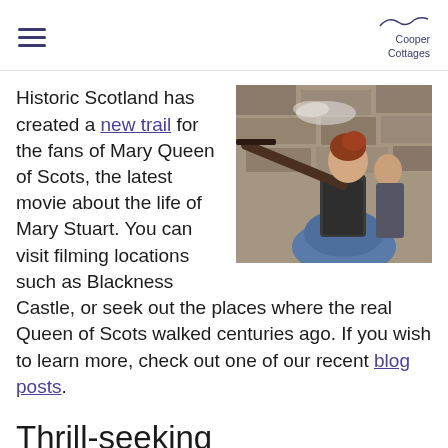Cooper Cottages
Historic Scotland has created a new trail for the fans of Mary Queen of Scots, the latest movie about the life of Mary Stuart. You can visit filming locations such as Blackness Castle, or seek out the places where the real Queen of Scots walked centuries ago. If you wish to learn more, check out one of our recent blog posts.
[Figure (photo): A woman in a blue period dress and corset aims a pistol/flintlock outward against a stone wall background. Another figure is partially visible behind her.]
Thrill-seeking